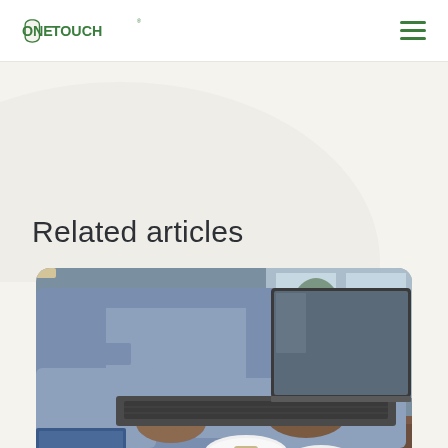OneTouch
Related articles
[Figure (photo): Person in a blue shirt typing on a laptop at a wooden desk, with a OneTouch blood glucose meter and another small medical device placed on a notebook in the foreground. Green plants and windows visible in the background.]